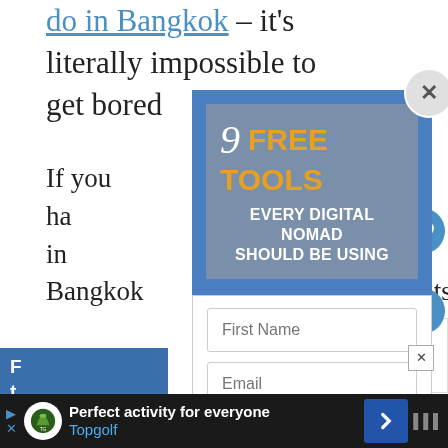do in Bangkok – it's literally impossible to get bored
If you have ... in Bangkok ... nts!
[Figure (screenshot): Popup modal overlay with blue header showing '9 FREE TOOLS EVERY DIGITAL NOMAD SHOULD BE USING' with email signup form fields for First Name and Email, an orange 'Show me the tools!' button, and text 'Plus get access to my travel lifestyle newsletter.' A circular X close button appears at top right.]
[Figure (screenshot): Article recommendation card showing 'WHAT'S NEXT' with thumbnail and text 'Get Paid to Be an Online...']
[Figure (screenshot): Bottom advertisement bar with Topgolf logo, text 'Perfect activity for everyone', navigation arrow, and social share icons.]
Plus get access to my travel lifestyle newsletter.
WHAT'S NEXT → Get Paid to Be an Online...
Perfect activity for everyone Topgolf